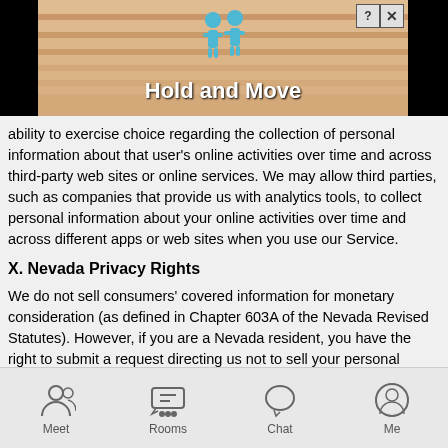[Figure (screenshot): Mobile game advertisement banner showing 'Hold and Move' with cartoon figures on stairs, with help and close buttons in top right corner]
ability to exercise choice regarding the collection of personal information about that user's online activities over time and across third-party web sites or online services. We may allow third parties, such as companies that provide us with analytics tools, to collect personal information about your online activities over time and across different apps or web sites when you use our Service.
X. Nevada Privacy Rights
We do not sell consumers' covered information for monetary consideration (as defined in Chapter 603A of the Nevada Revised Statutes). However, if you are a Nevada resident, you have the right to submit a request directing us not to sell your personal information. To submit such a request, please contact us by mail at JNJ Mobile Inc., 6 Liberty Sq PMB 96493, Boston MA 02109, by email at support@mocospace.com or contact us here
[Figure (screenshot): Mobile app bottom navigation bar with Meet, Rooms, Chat, and Me icons]